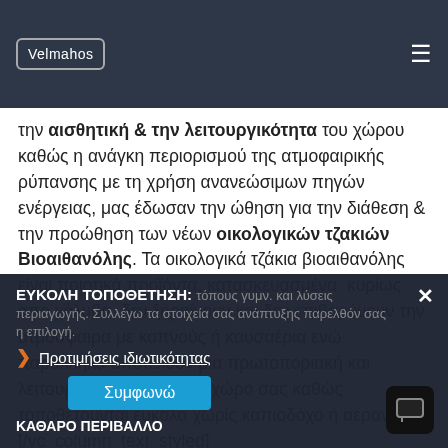Velmahos
την αισθητική & την λειτουργικότητα του χώρου καθώς η ανάγκη περιορισμού της ατμοφαιρικής ρύπανσης με τη χρήση ανανεώσιμων πηγών ενέργειας, μας έδωσαν την ώθηση για την διάθεση & την προώθηση των νέων οικολογικών τζακιών Βιοαιθανόλης. Τα οικολογικά τζάκια βιοαιθανόλης είναι ποιοτικά προϊόντα, κατασκευασμένα  κυρίως απο χάλυβα, δεν ξηραίνουν και δεν επιβαρύνουν την ατμόσφαιρα με καπνούς ή καυσαέρια ενώ παράλληλα αποτελούν μια πρωτοποριακή και λειτουργική λύση για τον χώρο σας καθώς τοποθετούνται εύκολα χωρίς καπνοδόχο ή αερισμό [/vc_column_text_styled]
ΕΥΚΟΛΗ ΤΟΠΟΘΕΤΗΣΗ: τόπους γυμν. και λύσεις περιαγωγής. Συλλέγω τα στοιχεία σας επιλογή.
ΚΑΘΑΡΟ ΠΕΡΙΒΑΛΛΟ…
Προτιμήσεις ιδιωτικότητας
Συμφωνώ